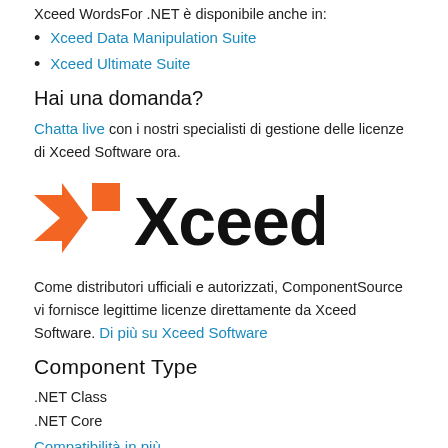Xceed WordsFor .NET è disponibile anche in:
Xceed Data Manipulation Suite
Xceed Ultimate Suite
Hai una domanda?
Chatta live con i nostri specialisti di gestione delle licenze di Xceed Software ora.
[Figure (logo): Xceed company logo with orange X icon and bold 'Xceed' text]
Come distributori ufficiali e autorizzati, ComponentSource vi fornisce legittime licenze direttamente da Xceed Software. Di più su Xceed Software
Component Type
.NET Class
.NET Core
Compatibilità in più
Riconoscimenti recenti